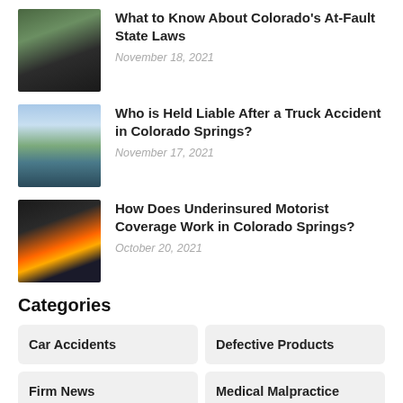[Figure (photo): Two cars in a collision, dark vehicles, road scene]
What to Know About Colorado’s At-Fault State Laws
November 18, 2021
[Figure (photo): Truck accident scene with clouds and a green truck on the road]
Who is Held Liable After a Truck Accident in Colorado Springs?
November 17, 2021
[Figure (photo): Emergency responder in high-visibility gear at accident scene]
How Does Underinsured Motorist Coverage Work in Colorado Springs?
October 20, 2021
Categories
Car Accidents
Defective Products
Firm News
Medical Malpractice